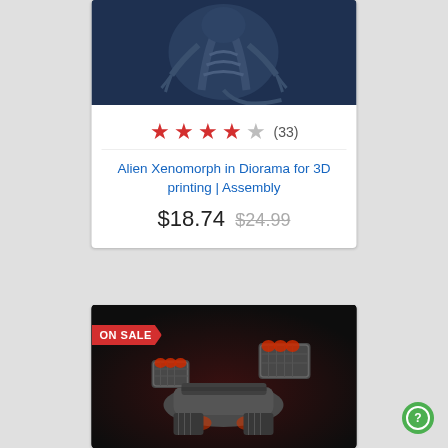[Figure (photo): 3D render of an Alien Xenomorph figure on dark blue background, showing detailed sculpt with ribbed body and claws]
★ ★ ★ ★ ☆ (33)
Alien Xenomorph in Diorama for 3D printing | Assembly
$18.74 $24.99
[Figure (photo): 3D render of a sci-fi spacecraft/turret with red glowing engines on dark background, with ON SALE banner overlay]